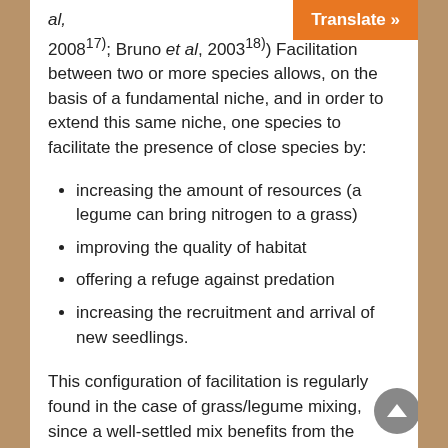al, 2008^17); Bruno et al, 2003^18)) Facilitation between two or more species allows, on the basis of a fundamental niche, and in order to extend this same niche, one species to facilitate the presence of close species by:
increasing the amount of resources (a legume can bring nitrogen to a grass)
improving the quality of habitat
offering a refuge against predation
increasing the recruitment and arrival of new seedlings.
This configuration of facilitation is regularly found in the case of grass/legume mixing, since a well-settled mix benefits from the transfer of nitrogen from legume to grass, either by rhizodeposition (Hogh-Jensen et Schjoerring, 2001^19)), or by senescence of organs and in particular nodules.
A more original example of facilitation is provided by the